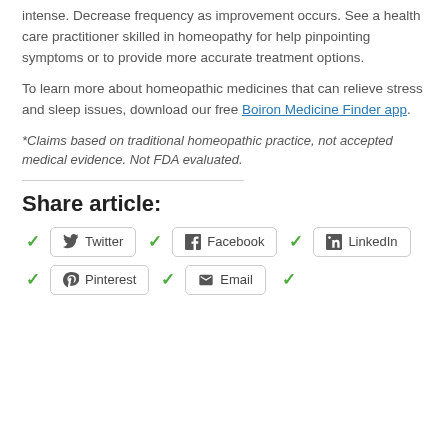intense. Decrease frequency as improvement occurs. See a health care practitioner skilled in homeopathy for help pinpointing symptoms or to provide more accurate treatment options.
To learn more about homeopathic medicines that can relieve stress and sleep issues, download our free Boiron Medicine Finder app.
*Claims based on traditional homeopathic practice, not accepted medical evidence. Not FDA evaluated.
Share article:
[Figure (other): Social share buttons for Twitter, Facebook, LinkedIn, Pinterest, and Email with green checkmarks next to each]